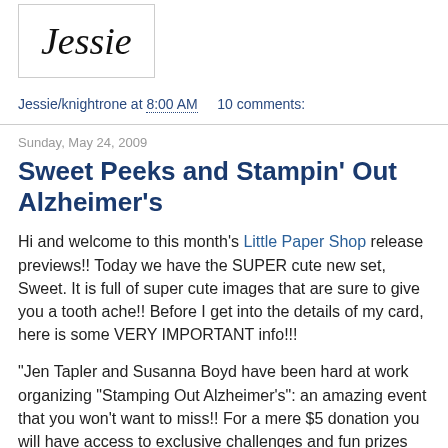[Figure (illustration): Cursive signature reading 'Jessie' in decorative script inside a bordered box]
Jessie/knightrone at 8:00 AM    10 comments:
Sunday, May 24, 2009
Sweet Peeks and Stampin' Out Alzheimer's
Hi and welcome to this month's Little Paper Shop release previews!! Today we have the SUPER cute new set, Sweet. It is full of super cute images that are sure to give you a tooth ache!! Before I get into the details of my card, here is some VERY IMPORTANT info!!!
"Jen Tapler and Susanna Boyd have been hard at work organizing "Stamping Out Alzheimer's": an amazing event that you won't want to miss!! For a mere $5 donation you will have access to exclusive challenges and fun prizes from numerous different companies. And the best part..... 100% of